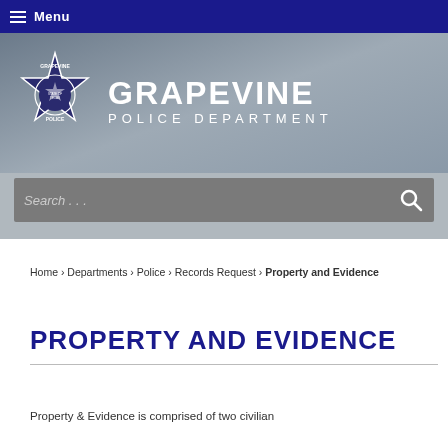Menu
[Figure (logo): Grapevine Police Department logo banner with badge and text reading GRAPEVINE POLICE DEPARTMENT]
Search . . .
Home › Departments › Police › Records Request › Property and Evidence
PROPERTY AND EVIDENCE
Property & Evidence is comprised of two civilian